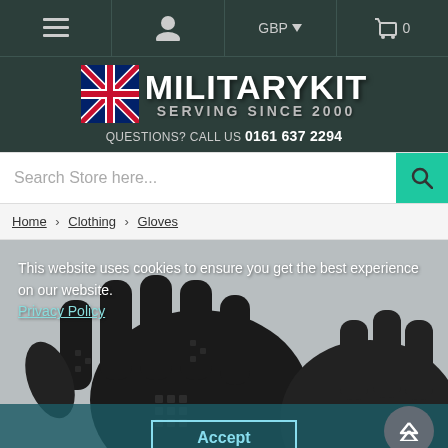MilitaryKit navigation bar with menu, account, GBP currency selector, and cart (0 items)
[Figure (logo): MilitaryKit logo with UK flag, text MILITARYKIT SERVING SINCE 2000]
QUESTIONS? CALL US 0161 637 2294
Search Store here...
Home › Clothing › Gloves
[Figure (photo): Black tactical/military gloves product photo showing the back of two gloves with textured grip pattern]
This website uses cookies to ensure you get the best experience on our website. Privacy Policy
Accept